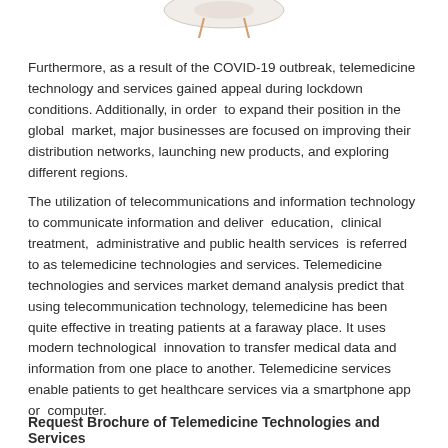[Figure (illustration): Partial illustration visible at top of page, appears to be a telemedicine or medical technology graphic, mostly cropped out]
Furthermore, as a result of the COVID-19 outbreak, telemedicine technology and services gained appeal during lockdown conditions. Additionally, in order to expand their position in the global market, major businesses are focused on improving their distribution networks, launching new products, and exploring different regions.
The utilization of telecommunications and information technology to communicate information and deliver education, clinical treatment, administrative and public health services is referred to as telemedicine technologies and services. Telemedicine technologies and services market demand analysis predict that using telecommunication technology, telemedicine has been quite effective in treating patients at a faraway place. It uses modern technological innovation to transfer medical data and information from one place to another. Telemedicine services enable patients to get healthcare services via a smartphone app or computer.
Request Brochure of Telemedicine Technologies and Services